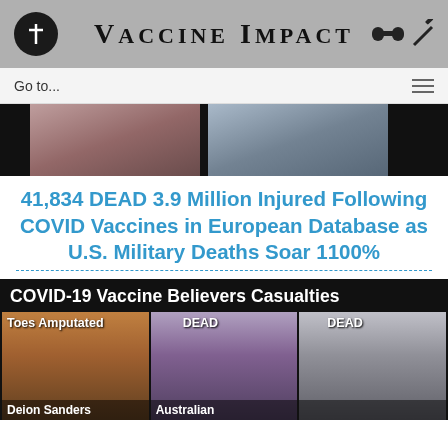VACCINE IMPACT
Go to...
[Figure (photo): Two photos of children on dark background]
41,834 DEAD 3.9 Million Injured Following COVID Vaccines in European Database as U.S. Military Deaths Soar 1100%
[Figure (infographic): COVID-19 Vaccine Believers Casualties panel showing three people: Deion Sanders (Toes Amputated), Australian woman (DEAD), woman with mask (DEAD)]